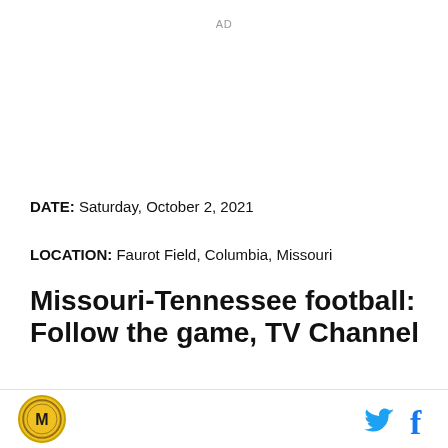AD
DATE: Saturday, October 2, 2021
LOCATION: Faurot Field, Columbia, Missouri
Missouri-Tennessee football: Follow the game, TV Channel
TELEVISION: SECN
[Figure (logo): Missouri Tigers circular logo with M in gold/yellow]
[Figure (logo): Twitter bird icon and Facebook f icon social media buttons]